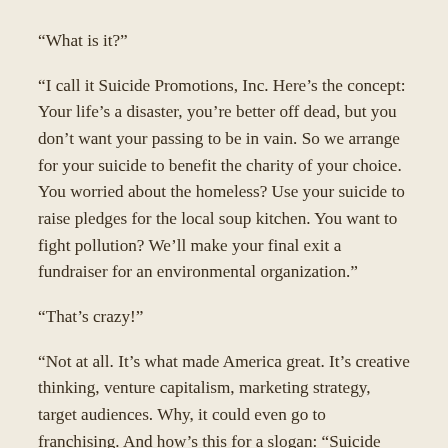“What is it?”
“I call it Suicide Promotions, Inc. Here’s the concept: Your life’s a disaster, you’re better off dead, but you don’t want your passing to be in vain. So we arrange for your suicide to benefit the charity of your choice. You worried about the homeless? Use your suicide to raise pledges for the local soup kitchen. You want to fight pollution? We’ll make your final exit a fundraiser for an environmental organization.”
“That’s crazy!”
“Not at all. It’s what made America great. It’s creative thinking, venture capitalism, marketing strategy, target audiences. Why, it could even go to franchising. And how’s this for a slogan: “Suicide Promotions, Inc.—Way To Go!” Picture a mass jump off the Brooklyn Bridge with music by the Mormon Tabernacle Choir. Or Russian roulette in the